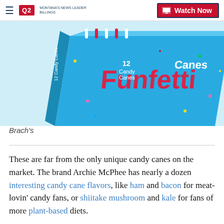Q2 Montana's News Leader | Watch Now
[Figure (photo): Box of Brach's Funfetti Candy Canes (12 count) on a blue background with colorful confetti decoration]
Brach's
These are far from the only unique candy canes on the market. The brand Archie McPhee has nearly a dozen interesting candy cane flavors, like ham and bacon for meat-lovin’ candy fans, or shiitake mushroom and kale for fans of more plant-based diets.
The company also makes candy canes that taste like pickles, mac & cheese, ketchup and even pizza,